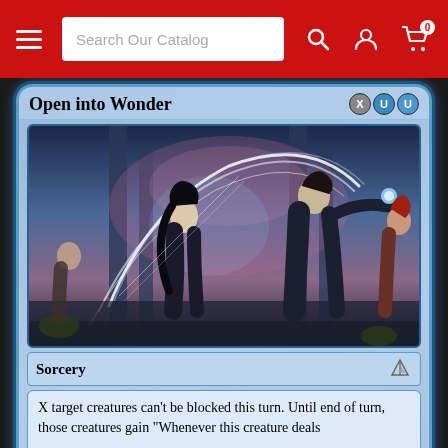[Figure (screenshot): Website navigation bar with hamburger menu, search bar labeled 'Search Our Catalog', search icon, user account icon, and shopping cart icon with badge showing 0]
[Figure (illustration): Magic: The Gathering card 'Open into Wonder' - a blue sorcery card showing fantasy artwork of robed figures with magical energy swirling around them in an architectural setting. Card text reads: X target creatures can't be blocked this turn. Until end of turn, those creatures gain 'Whenever this creature deals']
Open into Wonder
Sorcery
X target creatures can't be blocked this turn. Until end of turn, those creatures gain "Whenever this creature deals